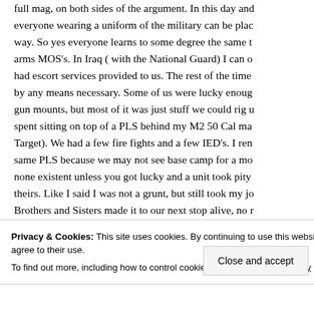full mag, on both sides of the argument. In this day and everyone wearing a uniform of the military can be placed way. So yes everyone learns to some degree the same to arms MOS's. In Iraq ( with the National Guard) I can o had escort services provided to us. The rest of the time by any means necessary. Some of us were lucky enough gun mounts, but most of it was just stuff we could rig u spent sitting on top of a PLS behind my M2 50 Cal ma Target). We had a few fire fights and a few IED's. I ren same PLS because we may not see base camp for a mo none existent unless you got lucky and a unit took pity theirs. Like I said I was not a grunt, but still took my jo Brothers and Sisters made it to our next stop alive, no r deliver all of the goods needed to make missions and a
Privacy & Cookies: This site uses cookies. By continuing to use this website, you agree to their use.
To find out more, including how to control cookies, see here: Cookie Policy
Close and accept